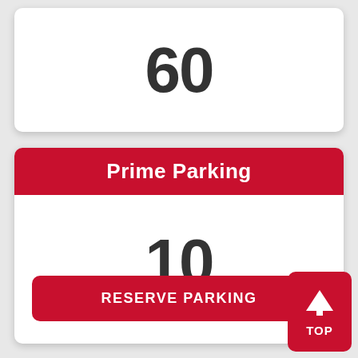60
Prime Parking
10
RESERVE PARKING
TOP